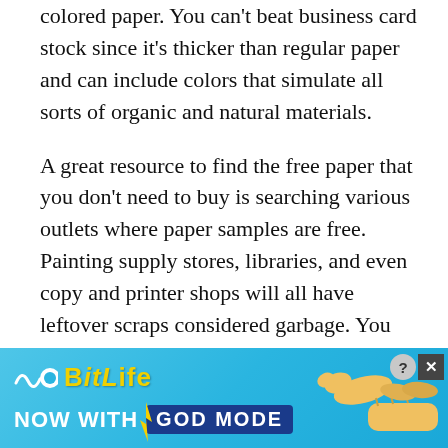colored paper. You can't beat business card stock since it's thicker than regular paper and can include colors that simulate all sorts of organic and natural materials.
A great resource to find the free paper that you don't need to buy is searching various outlets where paper samples are free. Painting supply stores, libraries, and even copy and printer shops will all have leftover scraps considered garbage. You can ask to take leftover scraps that can add volumes to your colored collection.
[Figure (other): BitLife advertisement banner — 'NOW WITH GOD MODE' promotional ad with blue gradient background, yellow BitLife logo, pointing hand graphic, close and help buttons.]